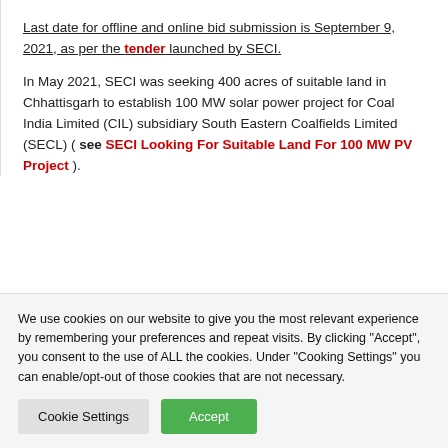Last date for offline and online bid submission is September 9, 2021, as per the tender launched by SECI.
In May 2021, SECI was seeking 400 acres of suitable land in Chhattisgarh to establish 100 MW solar power project for Coal India Limited (CIL) subsidiary South Eastern Coalfields Limited (SECL) ( see SECI Looking For Suitable Land For 100 MW PV Project ).
[Figure (logo): SECI red badge/logo partially visible]
We use cookies on our website to give you the most relevant experience by remembering your preferences and repeat visits. By clicking "Accept", you consent to the use of ALL the cookies. Under "Cooking Settings" you can enable/opt-out of those cookies that are not necessary.
Cookie Settings | Accept